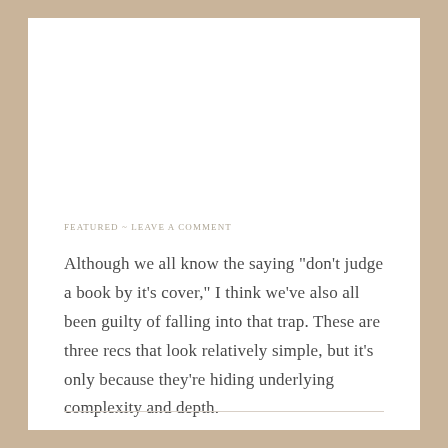FEATURED  ~  LEAVE A COMMENT
Although we all know the saying "don't judge a book by it's cover," I think we've also all been guilty of falling into that trap. These are three recs that look relatively simple, but it's only because they're hiding underlying complexity and depth.